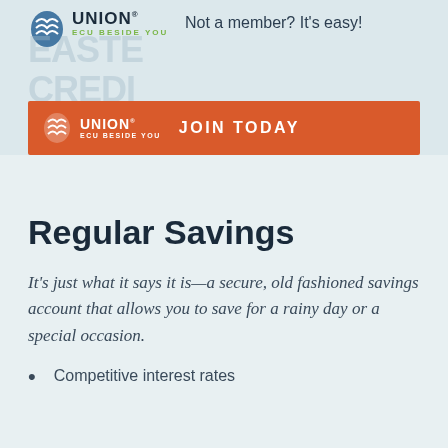[Figure (logo): Eastern Credit Union logo with blue wave icon and text UNION ECU BESIDE YOU in green]
Not a member? It's easy!
[Figure (infographic): Orange banner with UNION ECU BESIDE YOU logo and JOIN TODAY text]
Regular Savings
It's just what it says it is—a secure, old fashioned savings account that allows you to save for a rainy day or a special occasion.
Competitive interest rates